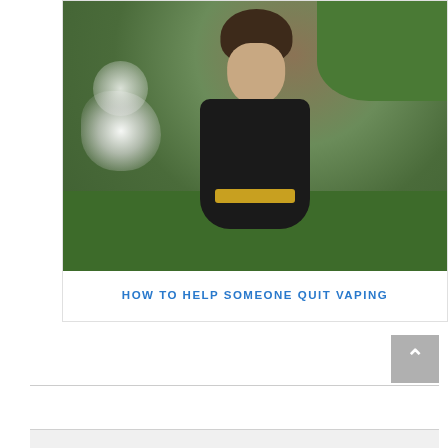[Figure (photo): Aerial/top-down photo of a young person with short dark hair exhaling vapor/smoke while sitting on green grass, wearing a black jacket and olive/khaki pants. The vapor cloud is visible on the left side.]
HOW TO HELP SOMEONE QUIT VAPING